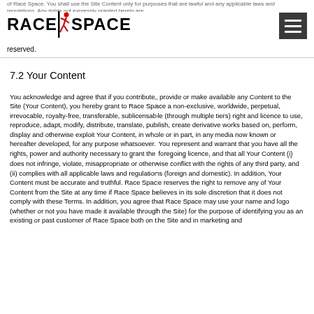Race Space — You shall use the Site Content only for purposes that are lawful and any applicable laws and regulations. Any rights not expressly granted herein are reserved.
7.2 Your Content
You acknowledge and agree that if you contribute, provide or make available any Content to the Site (Your Content), you hereby grant to Race Space a non-exclusive, worldwide, perpetual, irrevocable, royalty-free, transferable, sublicensable (through multiple tiers) right and licence to use, reproduce, adapt, modify, distribute, translate, publish, create derivative works based on, perform, display and otherwise exploit Your Content, in whole or in part, in any media now known or hereafter developed, for any purpose whatsoever. You represent and warrant that you have all the rights, power and authority necessary to grant the foregoing licence, and that all Your Content (i) does not infringe, violate, misappropriate or otherwise conflict with the rights of any third party, and (ii) complies with all applicable laws and regulations (foreign and domestic). In addition, Your Content must be accurate and truthful. Race Space reserves the right to remove any of Your Content from the Site at any time if Race Space believes in its sole discretion that it does not comply with these Terms. In addition, you agree that Race Space may use your name and logo (whether or not you have made it available through the Site) for the purpose of identifying you as an existing or past customer of Race Space both on the Site and in marketing and